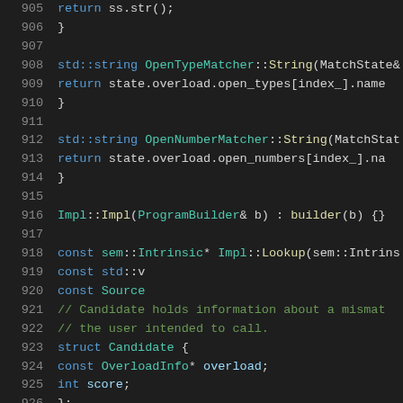[Figure (screenshot): Source code viewer showing C++ code lines 905-926 with syntax highlighting on a dark background. Colors: line numbers in grey, keywords in blue, class names in teal/green, function names in yellow, comments in green, identifiers in light blue.]